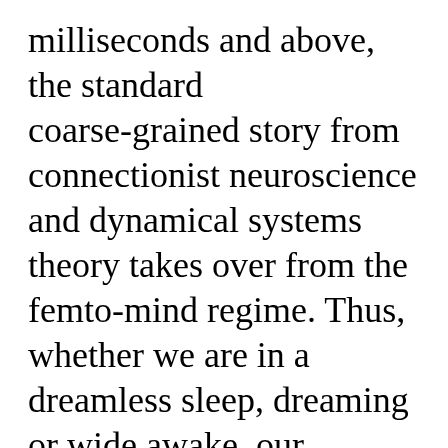milliseconds and above, the standard coarse-grained story from connectionist neuroscience and dynamical systems theory takes over from the femto-mind regime. Thus, whether we are in a dreamless sleep, dreaming or wide awake, our memories are coarsely encoded in the connectivity, connection weights and the internal architecture of our